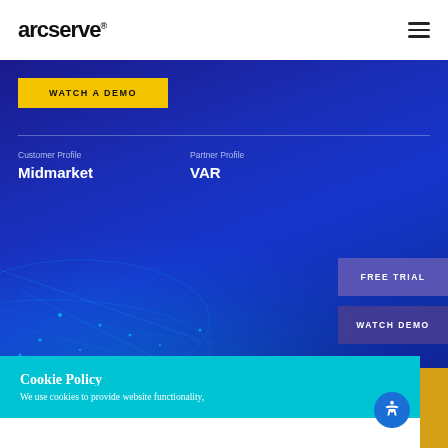arcserve®
WATCH A DEMO
Customer Profile
Midmarket
Partner Profile
VAR
FREE TRIAL
WATCH DEMO
[Figure (screenshot): Blue gradient background with glowing network lines and dots at bottom left]
Cookie Policy
We use cookies to provide website functionality,